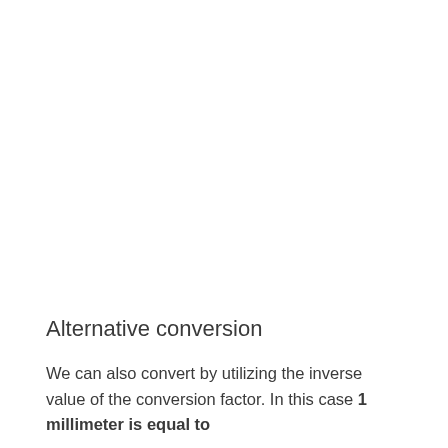Alternative conversion
We can also convert by utilizing the inverse value of the conversion factor. In this case 1 millimeter is equal to 0.034444444444444 × 38.5 centimeters.